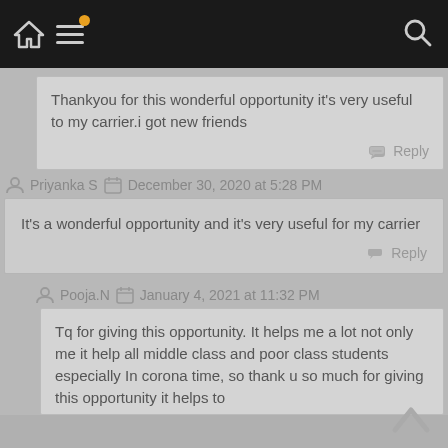Navigation bar with home, menu, and search icons
Thankyou for this wonderful opportunity it's very useful to my carrier.i got new friends
Reply
Priyanka S   December 30, 2020 at 5:28 PM
It's a wonderful opportunity and it's very useful for my carrier
Reply
Pooja.N   January 4, 2021 at 11:32 PM
Tq for giving this opportunity. It helps me a lot not only me it help all middle class and poor class students especially In corona time, so thank u so much for giving this opportunity it helps to